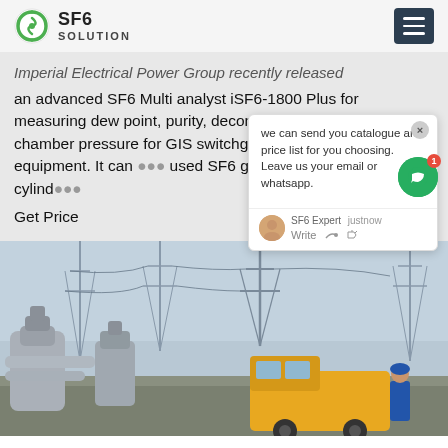SF6 SOLUTION
Imperial Electrical Power Group recently released an advanced SF6 Multi analyst iSF6-1800 Plus for measuring dew point, purity, decomposition products and chamber pressure for GIS switchgear and high voltage equipment. It can be used SF6 gas in an on-board cylinder
Get Price
[Figure (photo): Electrical substation with high voltage transmission towers, large pipe equipment, and a yellow truck with workers in blue uniforms]
we can send you catalogue and price list for you choosing. Leave us your email or whatsapp.